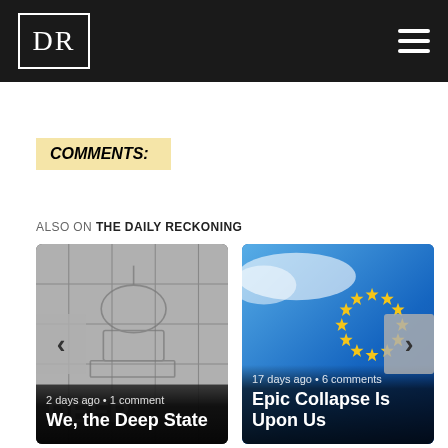DR
COMMENTS:
ALSO ON THE DAILY RECKONING
[Figure (photo): Article card: puzzle pieces with US Capitol building. Text overlay: '2 days ago • 1 comment' and title 'We, the Deep State'. Left navigation arrow visible.]
[Figure (photo): Article card: EU flag with stars on blue background. Text overlay: '17 days ago • 6 comments' and title 'Epic Collapse Is Upon Us'. Right navigation arrow visible.]